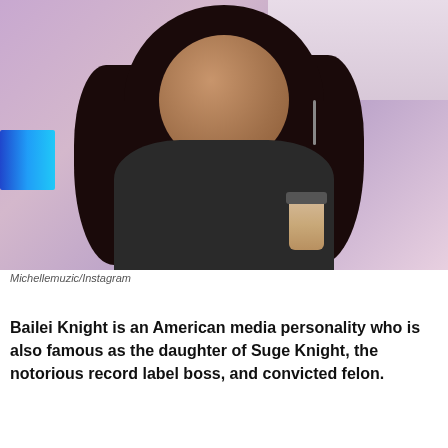[Figure (photo): A young woman with long wavy dark hair, smiling, holding a drink cup, standing in a room with a blue LED strip light on the wall behind her. Purple/pink ambient lighting.]
Michellemuzic/Instagram
Bailei Knight is an American media personality who is also famous as the daughter of Suge Knight, the notorious record label boss, and convicted felon.